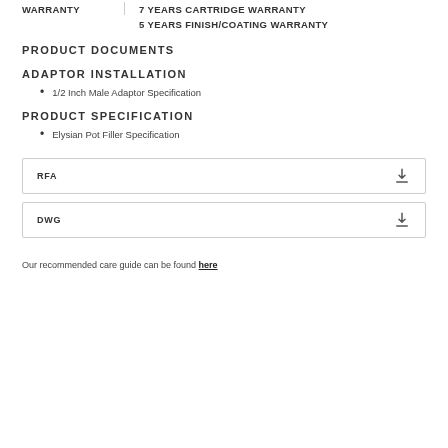WARRANTY
7 YEARS CARTRIDGE WARRANTY
5 YEARS FINISH/COATING WARRANTY
PRODUCT DOCUMENTS
ADAPTOR INSTALLATION
1/2 Inch Male Adaptor Specification
PRODUCT SPECIFICATION
Elysian Pot Filler Specification
RFA
DWG
Our recommended care guide can be found here